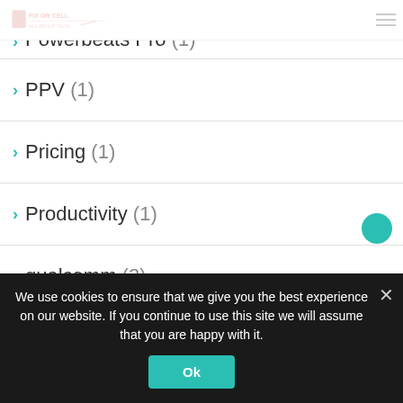Fix or Cell logo + hamburger menu
Powerbeats Pro (1)
PPV (1)
Pricing (1)
Productivity (1)
qualcomm (3)
Quotes (1)
Ray-Ban (1)
Ray-Ban Stories (1)
We use cookies to ensure that we give you the best experience on our website. If you continue to use this site we will assume that you are happy with it.